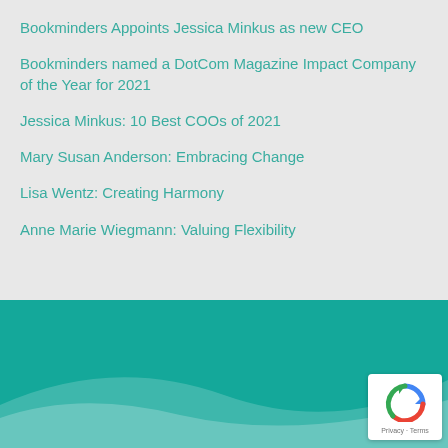Bookminders Appoints Jessica Minkus as new CEO
Bookminders named a DotCom Magazine Impact Company of the Year for 2021
Jessica Minkus: 10 Best COOs of 2021
Mary Susan Anderson: Embracing Change
Lisa Wentz: Creating Harmony
Anne Marie Wiegmann: Valuing Flexibility
[Figure (other): Teal/green decorative section with white wave shape at bottom and reCAPTCHA badge in lower right corner showing Privacy · Terms text]